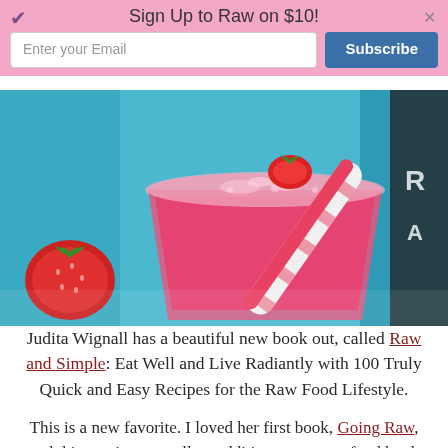Sign Up to Raw on $10!
[Figure (photo): A pink-red strawberry smoothie in a glass with a red and white striped straw, garnished with a strawberry slice, on a bright teal/blue background. A fresh strawberry is visible in the lower left.]
Judita Wignall has a beautiful new book out, called Raw and Simple: Eat Well and Live Radiantly with 100 Truly Quick and Easy Recipes for the Raw Food Lifestyle.
This is a new favorite. I loved her first book, Going Raw, and this one is an excellent addition to my raw food book library. Judita’s recipes are creative and delicious, but they’re also simple and easy to make. Most of Judita’s recipes require a relatively short list of